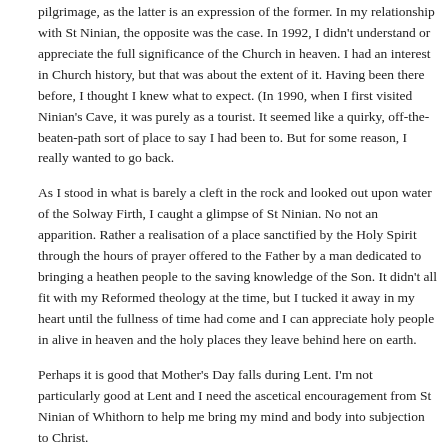pilgrimage, as the latter is an expression of the former. In my relationship with St Ninian, the opposite was the case. In 1992, I didn't understand or appreciate the full significance of the Church in heaven. I had an interest in Church history, but that was about the extent of it. Having been there before, I thought I knew what to expect. (In 1990, when I first visited Ninian's Cave, it was purely as a tourist. It seemed like a quirky, off-the-beaten-path sort of place to say I had been to. But for some reason, I really wanted to go back.
As I stood in what is barely a cleft in the rock and looked out upon water of the Solway Firth, I caught a glimpse of St Ninian. No not an apparition. Rather a realisation of a place sanctified by the Holy Spirit through the hours of prayer offered to the Father by a man dedicated to bringing a heathen people to the saving knowledge of the Son. It didn't all fit with my Reformed theology at the time, but I tucked it away in my heart until the fullness of time had come and I can appreciate holy people in alive in heaven and the holy places they leave behind here on earth.
Perhaps it is good that Mother's Day falls during Lent. I'm not particularly good at Lent and I need the ascetical encouragement from St Ninian of Whithorn to help me bring my mind and body into subjection to Christ.
Posted by david at 09:58 PM | Comments (0)
March 29, 2003